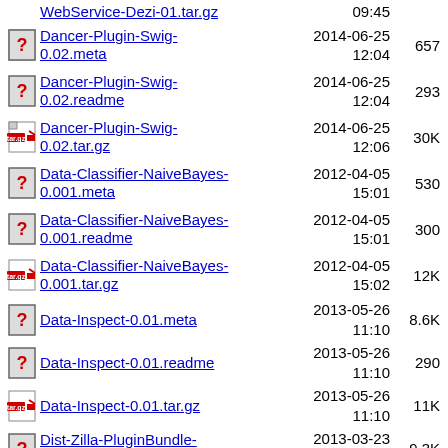WebService-Dezi-01.tar.gz  09:45
Dancer-Plugin-Swig-0.02.meta  2014-06-25 12:04  657
Dancer-Plugin-Swig-0.02.readme  2014-06-25 12:04  293
Dancer-Plugin-Swig-0.02.tar.gz  2014-06-25 12:06  30K
Data-Classifier-NaiveBayes-0.001.meta  2012-04-05 15:01  530
Data-Classifier-NaiveBayes-0.001.readme  2012-04-05 15:01  300
Data-Classifier-NaiveBayes-0.001.tar.gz  2012-04-05 15:02  12K
Data-Inspect-0.01.meta  2013-05-26 11:10  8.6K
Data-Inspect-0.01.readme  2013-05-26 11:10  290
Data-Inspect-0.01.tar.gz  2013-05-26 11:10  11K
Dist-Zilla-PluginBundle-Author-LOGIE-0.04.meta  2013-03-23 03:59  9.3K
Dist-Zilla-PluginBundle-Author-LOGIE-0.04.readme  2013-03-23 03:59  313